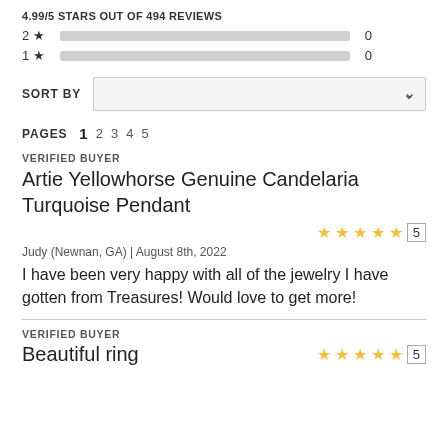4.99/5 STARS OUT OF 494 REVIEWS
[Figure (bar-chart): Star rating distribution]
SORT BY
PAGES  1  2  3  4  5
VERIFIED BUYER
Artie Yellowhorse Genuine Candelaria Turquoise Pendant
5 stars
Judy (Newnan, GA) | August 8th, 2022
I have been very happy with all of the jewelry I have gotten from Treasures! Would love to get more!
VERIFIED BUYER
Beautiful ring